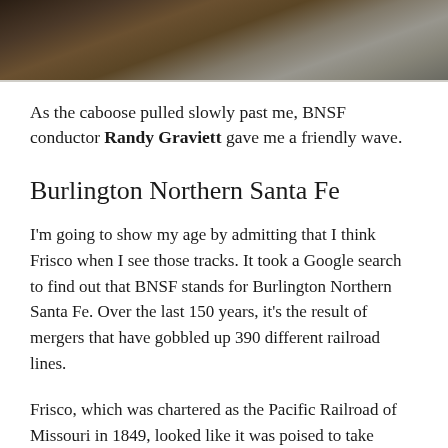[Figure (photo): Close-up photo of a train caboose wheel and undercarriage on railroad tracks, viewed from low angle]
As the caboose pulled slowly past me, BNSF conductor Randy Graviett gave me a friendly wave.
Burlington Northern Santa Fe
I'm going to show my age by admitting that I think Frisco when I see those tracks. It took a Google search to find out that BNSF stands for Burlington Northern Santa Fe. Over the last 150 years, it's the result of mergers that have gobbled up 390 different railroad lines.
Frisco, which was chartered as the Pacific Railroad of Missouri in 1849, looked like it was poised to take advantage of the discovery of gold at Sutter's Mill in California, but construction bogged down until the Civil